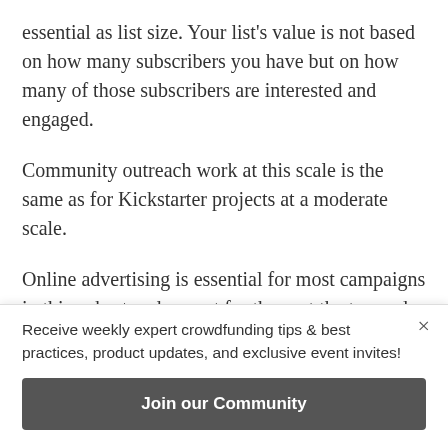essential as list size. Your list's value is not based on how many subscribers you have but on how many of those subscribers are interested and engaged.
Community outreach work at this scale is the same as for Kickstarter projects at a moderate scale.
Online advertising is essential for most campaigns in this cohort and a must for those at the top end of this range. Long gone are the days when social
Receive weekly expert crowdfunding tips & best practices, product updates, and exclusive event invites!
Join our Community